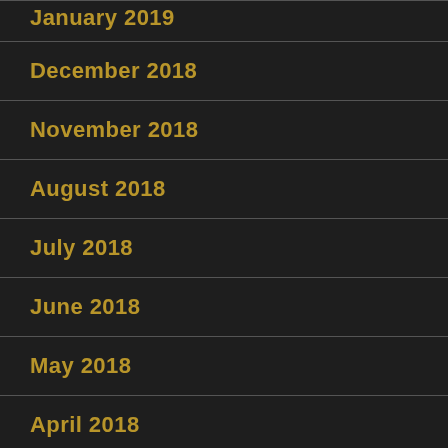January 2019
December 2018
November 2018
August 2018
July 2018
June 2018
May 2018
April 2018
March 2018